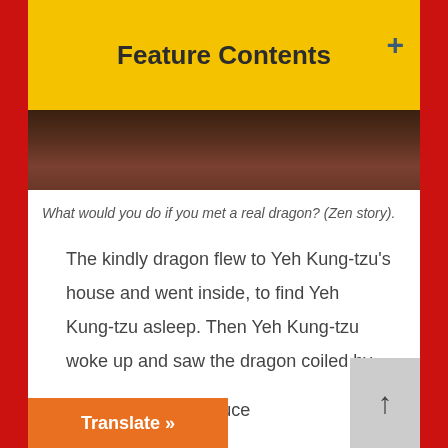Feature Contents
[Figure (photo): Dark landscape photo showing rocky terrain, partially visible at the top of the content area]
What would you do if you met a real dragon? (Zen story).
The kindly dragon flew to Yeh Kung-tzu's house and went inside, to find Yeh Kung-tzu asleep. Then Yeh Kung-tzu woke up and saw the dragon coiled by his bed, its scales and teeth glittering in the moonlight. And Yeh Kung-tzu screamed in terror.
he dragon could introduce